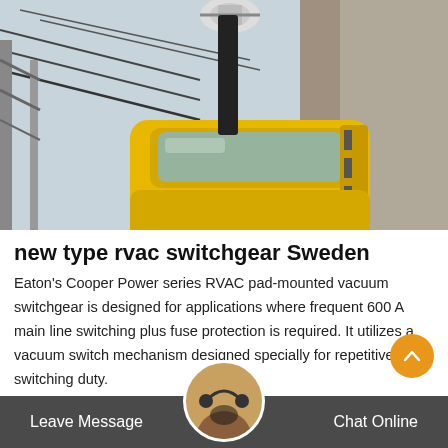[Figure (photo): Overhead view of a yellow industrial truck/vehicle near electrical utility infrastructure, with power lines and towers visible. The image is taken from above looking down at the yellow cab of the truck.]
new type rvac switchgear Sweden
Eaton's Cooper Power series RVAC pad-mounted vacuum switchgear is designed for applications where frequent 600 A main line switching plus fuse protection is required. It utilizes a vacuum switch mechanism designed specially for repetitive switching duty.